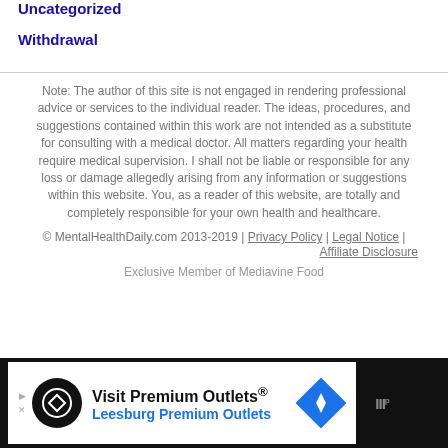Uncategorized
Withdrawal
Note: The author of this site is not engaged in rendering professional advice or services to the individual reader. The ideas, procedures, and suggestions contained within this work are not intended as a substitute for consulting with a medical doctor. All matters regarding your health require medical supervision. I shall not be liable or responsible for any loss or damage allegedly arising from any information or suggestions within this website. You, as a reader of this website, are totally and completely responsible for your own health and healthcare.
© MentalHealthDaily.com 2013-2019 | Privacy Policy | Legal Notice | Affiliate Disclosure
Exclusive Member of Mediavine Food
[Figure (screenshot): Advertisement banner for Visit Premium Outlets / Leesburg Premium Outlets with navigation icon]